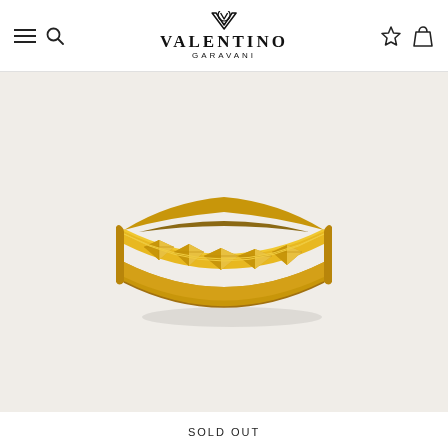VALENTINO GARAVANI
[Figure (photo): A gold-toned open cuff bracelet/bangle with raised pyramid stud texture on the front face, photographed on a warm beige background. The bracelet is open at the back and features a row of geometric pyramid-shaped studs running along the wide band.]
SOLD OUT